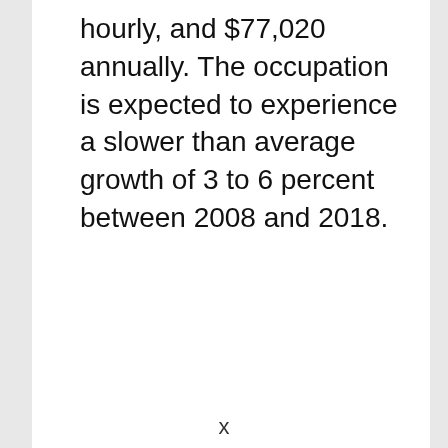hourly, and $77,020 annually. The occupation is expected to experience a slower than average growth of 3 to 6 percent between 2008 and 2018.
x